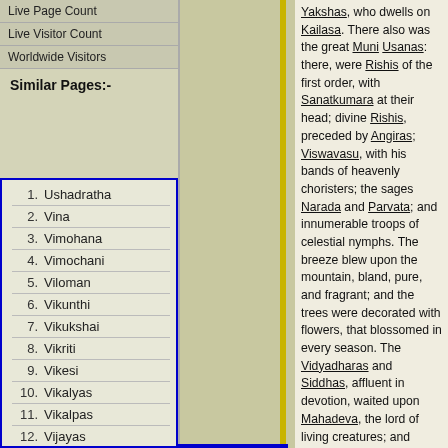Live Page Count
Live Visitor Count
Worldwide Visitors
Similar Pages:-
1. Ushadratha
2. Vina
3. Vimohana
4. Vimochani
5. Viloman
6. Vikunthi
7. Vikukshai
8. Vikriti
9. Vikesi
10. Vikalyas
11. Vikalpas
12. Vijayas
13. Vijaya
14. Vihangamas
15. Vidyut
vp.1.8
Yakshas, who dwells on Kailasa. There also was the great Muni Usanas: there, were Rishis of the first order, with Sanatkumara at their head; divine Rishis, preceded by Angiras; Viswavasu, with his bands of heavenly choristers; the sages Narada and Parvata; and innumerable troops of celestial nymphs. The breeze blew upon the mountain, bland, pure, and fragrant; and the trees were decorated with flowers, that blossomed in every season. The Vidyadharas and Siddhas, affluent in devotion, waited upon Mahadeva, the lord of living creatures; and many other beings, of various forms, did him homage. Rakshasas of terrific semblance, and Pisachas of great strength, of different shapes and features, armed with various weapons, and blazing like fire, were delighted to be present, as the followers of the god. There stood the royal Nandi, high in the favour of his lord, armed with a fiery trident, shining with inherent lustre; and there the best of rivers, Ganga, the assemblage of all holy waters, stood adoring the mighty deity. Thus worshipped by all the most excellent of